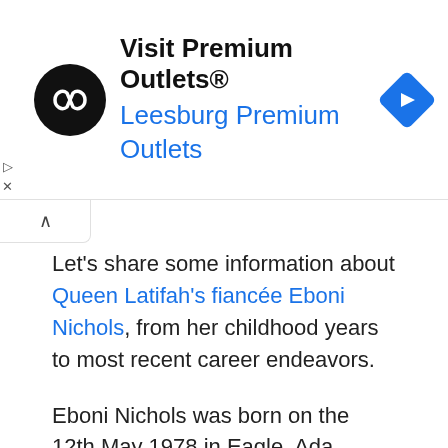[Figure (infographic): Advertisement banner for Visit Premium Outlets® / Leesburg Premium Outlets, with circular black logo containing white infinity-like symbol, blue navigation diamond icon on right, and play/close controls on far left.]
Let's share some information about Queen Latifah's fiancée Eboni Nichols, from her childhood years to most recent career endeavors.
Eboni Nichols was born on the 12th May 1978 in Eagle, Ada County, Idaho USA, and became interested in dancing at a rather early age. When she turned eight years old she joined Bre Dance Studio in California, moving to California to honed her dancing skills. She